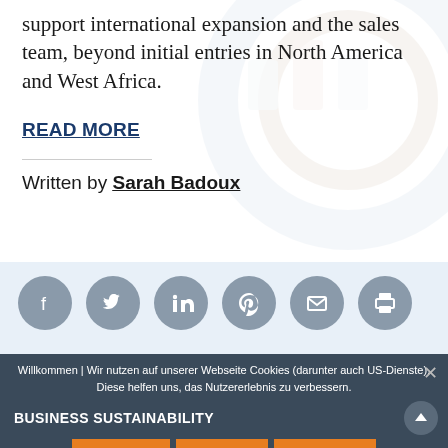support international expansion and the sales team, beyond initial entries in North America and West Africa.
READ MORE
Written by Sarah Badoux
[Figure (infographic): Row of 6 social sharing icon circles (Facebook, Twitter, LinkedIn, Pinterest, Email, Print) in gray on a light blue background]
Willkommen | Wir nutzen auf unserer Webseite Cookies (darunter auch US-Dienste). Diese helfen uns, das Nutzererlebnis zu verbessern.
BUSINESS SUSTAINABILITY
OK, WEITER
ABLEHNEN
MEHR INFOS